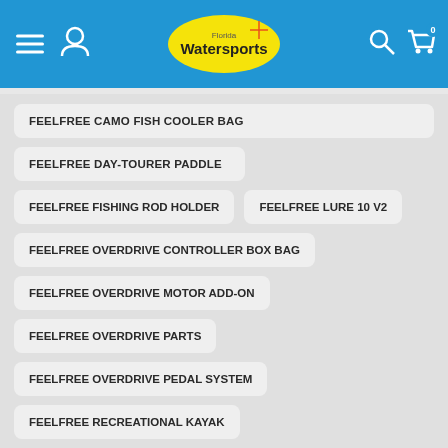Florida Watersports
FEELFREE CAMO FISH COOLER BAG
FEELFREE DAY-TOURER PADDLE
FEELFREE FISHING ROD HOLDER
FEELFREE LURE 10 V2
FEELFREE OVERDRIVE CONTROLLER BOX BAG
FEELFREE OVERDRIVE MOTOR ADD-ON
FEELFREE OVERDRIVE PARTS
FEELFREE OVERDRIVE PEDAL SYSTEM
FEELFREE RECREATIONAL KAYAK
FEELFREE RECREATIONAL KAYAKS
FEELFREE RECREATONAL KAYAK
FEELFREE UNI-BAR
FILET KNIVES
FISH GRIP
FISH MEASUREMENT